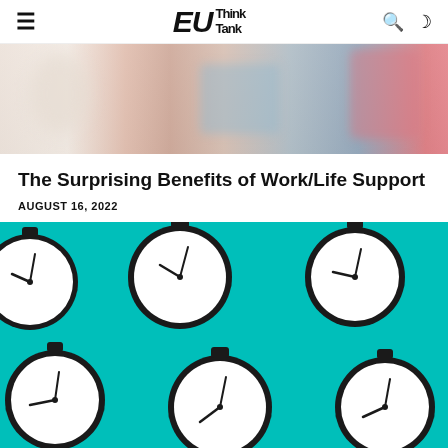EU Think Tank
[Figure (photo): Partial view of a lifestyle photo showing colorful background with soft objects, cropped at the top of the page]
The Surprising Benefits of Work/Life Support
AUGUST 16, 2022
[Figure (photo): Photo of multiple black alarm clocks arranged in a grid pattern on a teal/turquoise background, shadows visible beneath each clock]